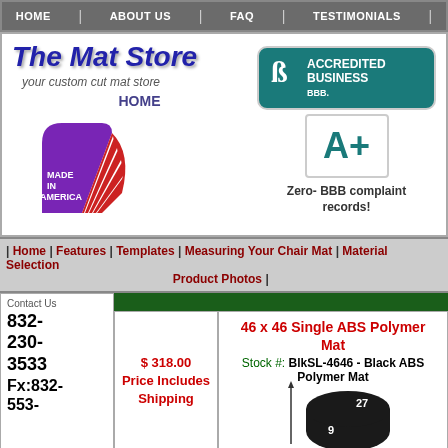HOME | ABOUT US | FAQ | TESTIMONIALS |
[Figure (logo): The Mat Store logo with 'your custom cut mat store' subtitle]
HOME
[Figure (logo): Made in America badge with American flag design]
[Figure (logo): BBB Accredited Business badge with A+ rating]
Zero- BBB complaint records!
| Home | Features | Templates | Measuring Your Chair Mat | Material Selection Product Photos |
Contact Us
832-230-3533
Fx:832-553-
$ 318.00 Price Includes Shipping
46 x 46 Single ABS Polymer Mat
Stock #: BlkSL-4646 - Black ABS Polymer Mat